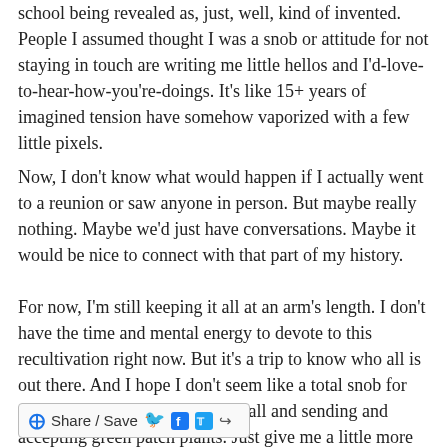school being revealed as, just, well, kind of invented. People I assumed thought I was a snob or attitude for not staying in touch are writing me little hellos and I'd-love-to-hear-how-you're-doings. It's like 15+ years of imagined tension have somehow vaporized with a few little pixels.
Now, I don't know what would happen if I actually went to a reunion or saw anyone in person. But maybe really nothing. Maybe we'd just have conversations. Maybe it would be nice to connect with that part of my history.
For now, I'm still keeping it all at an arm's length. I don't have the time and mental energy to devote to this recultivation right now. But it's a trip to know who all is out there. And I hope I don't seem like a total snob for not replying and updating my wall and sending and accepting green patch plants. Just give me a little more time, okay? Half a lifetime isn't quite enough.
[Figure (other): Share / Save button bar with icons for Facebook, Twitter, and a share arrow icon]